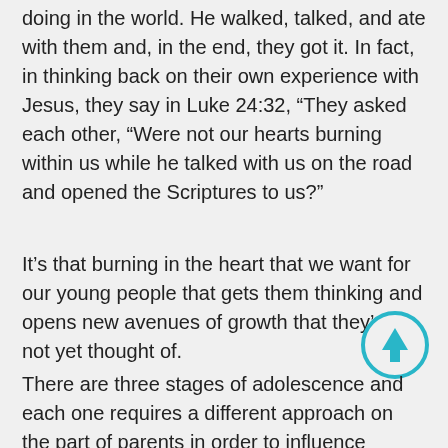doing in the world. He walked, talked, and ate with them and, in the end, they got it. In fact, in thinking back on their own experience with Jesus, they say in Luke 24:32, “They asked each other, “Were not our hearts burning within us while he talked with us on the road and opened the Scriptures to us?”
It’s that burning in the heart that we want for our young people that gets them thinking and opens new avenues of growth that they’ve not yet thought of.
[Figure (other): A teal/cyan circular button with an upward-pointing arrow icon, positioned in the lower-right area of the page.]
There are three stages of adolescence and each one requires a different approach on the part of parents in order to influence change.